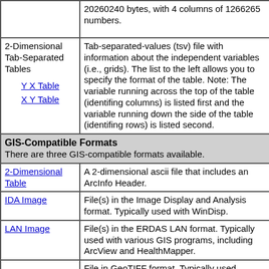| 20260240 bytes, with 4 columns of 1266265 numbers. |  |
| 2-Dimensional Tab-Separated Tables
Y X Table
X Y Table | Tab-separated-values (tsv) file with information about the independent variables (i.e., grids). The list to the left allows you to specify the format of the table. Note: The variable running across the top of the table (identifing columns) is listed first and the variable running down the side of the table (identifing rows) is listed second. |
| GIS-Compatible Formats
There are three GIS-compatible formats available. |  |
| 2-Dimensional Table | A 2-dimensional ascii file that includes an ArcInfo Header. |
| IDA Image | File(s) in the Image Display and Analysis format. Typically used with WinDisp. |
| LAN Image | File(s) in the ERDAS LAN format. Typically used with various GIS programs, including ArcView and HealthMapper. |
|  | File in GeoTIFF format. Typically used... |